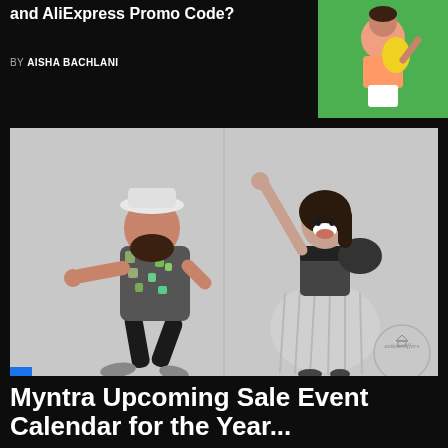and AliExpress Promo Code?
BY AISHA BACHLANI
[Figure (photo): Woman in peach top and yellow skirt on green background, holding a bag, smiling]
[Figure (photo): Black and white fashion photo: man in floral shirt, black pants and hat dancing on the left; woman in off-shoulder top and pleated skirt dancing on the right. AskmeOffers watermark in bottom right.]
Myntra Upcoming Sale Event Calendar for the Year...